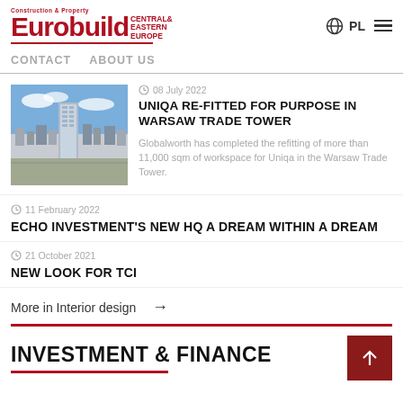Eurobuild Central & Eastern Europe
CONTACT  ABOUT US
[Figure (photo): Aerial photo of Warsaw city with Warsaw Trade Tower skyscraper visible]
08 July 2022
UNIQA RE-FITTED FOR PURPOSE IN WARSAW TRADE TOWER
Globalworth has completed the refitting of more than 11,000 sqm of workspace for Uniqa in the Warsaw Trade Tower.
11 February 2022
ECHO INVESTMENT'S NEW HQ A DREAM WITHIN A DREAM
21 October 2021
NEW LOOK FOR TCI
More in Interior design →
INVESTMENT & FINANCE